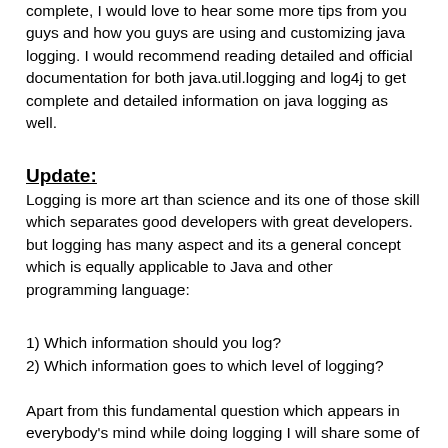complete, I would love to hear some more tips from you guys and how you guys are using and customizing java logging. I would recommend reading detailed and official documentation for both java.util.logging and log4j to get complete and detailed information on java logging as well.
Update:
Logging is more art than science and its one of those skill which separates good developers with great developers. but logging has many aspect and its a general concept which is equally applicable to Java and other programming language:
1) Which information should you log?
2) Which information goes to which level of logging?
Apart from this fundamental question which appears in everybody's mind while doing logging I will share some of the best practices I follow while writing logs for my java programmers: